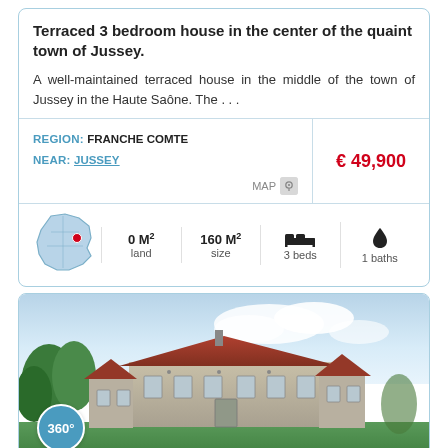Terraced 3 bedroom house in the center of the quaint town of Jussey.
A well-maintained terraced house in the middle of the town of Jussey in the Haute Saône. The . . .
| REGION | NEAR | PRICE | LAND | SIZE | BEDS | BATHS |
| --- | --- | --- | --- | --- | --- | --- |
| FRANCHE COMTE | JUSSEY | € 49,900 | 0 M² | 160 M² | 3 beds | 1 baths |
[Figure (photo): Exterior photo of a stone French manor house with terracotta roof, green trees in foreground, blue sky with clouds, with a 360° badge overlay in bottom-left corner.]